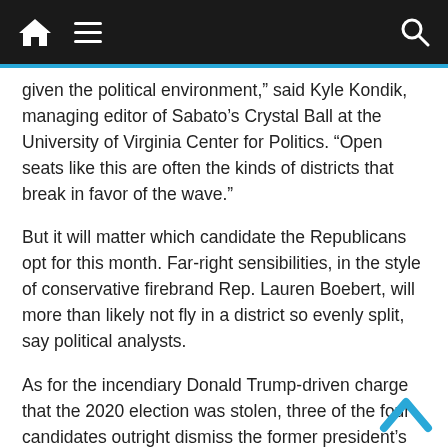Navigation bar with home, menu, and search icons
given the political environment,” said Kyle Kondik, managing editor of Sabato’s Crystal Ball at the University of Virginia Center for Politics. “Open seats like this are often the kinds of districts that break in favor of the wave.”
But it will matter which candidate the Republicans opt for this month. Far-right sensibilities, in the style of conservative firebrand Rep. Lauren Boebert, will more than likely not fly in a district so evenly split, say political analysts.
As for the incendiary Donald Trump-driven charge that the 2020 election was stolen, three of the four candidates outright dismiss the former president’s claim. But Saine, who said in an interview with The Denver Post that she is “without a doubt” the most conservative candidate on the ballot, didn’t expressly